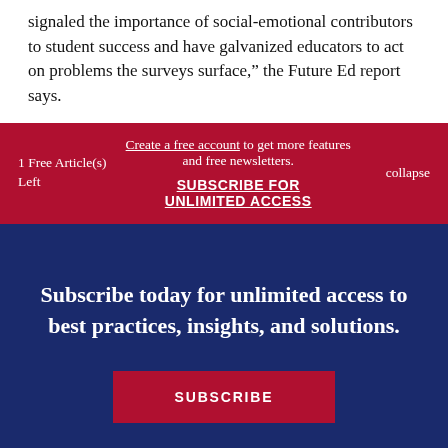signaled the importance of social-emotional contributors to student success and have galvanized educators to act on problems the surveys surface,” the Future Ed report says.
1 Free Article(s) Left
Create a free account to get more features and free newsletters. SUBSCRIBE FOR UNLIMITED ACCESS
collapse
Subscribe today for unlimited access to best practices, insights, and solutions.
SUBSCRIBE